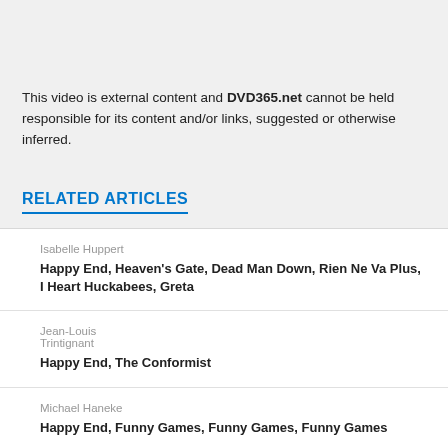This video is external content and DVD365.net cannot be held responsible for its content and/or links, suggested or otherwise inferred.
RELATED ARTICLES
Isabelle Huppert
Happy End, Heaven's Gate, Dead Man Down, Rien Ne Va Plus, I Heart Huckabees, Greta
Jean-Louis Trintignant
Happy End, The Conformist
Michael Haneke
Happy End, Funny Games, Funny Games, Funny Games